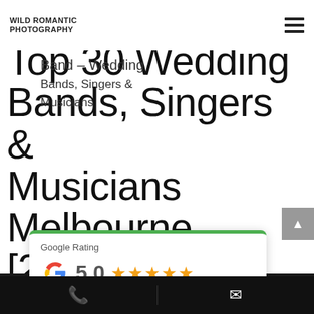WILD ROMANTIC PHOTOGRAPHY
Top 30 Wedding Bands, Singers & Musicians Melbourne [2021]
[Figure (other): Google Rating widget showing 5.0 stars based on 267 reviews with Google logo and green top border]
Phone and email contact icons on black bar